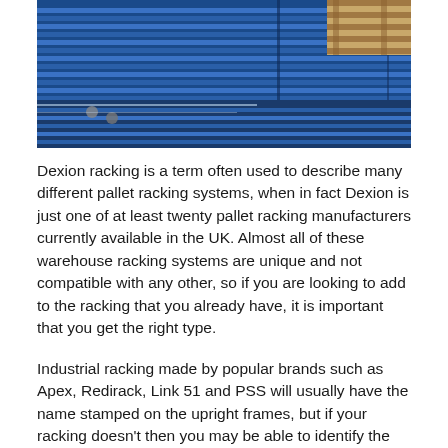[Figure (photo): Stacked blue metal pallet racking uprights/beams in a warehouse setting, viewed at an angle. A wooden pallet is visible in the upper right corner.]
Dexion racking is a term often used to describe many different pallet racking systems, when in fact Dexion is just one of at least twenty pallet racking manufacturers currently available in the UK. Almost all of these warehouse racking systems are unique and not compatible with any other, so if you are looking to add to the racking that you already have, it is important that you get the right type.
Industrial racking made by popular brands such as Apex, Redirack, Link 51 and PSS will usually have the name stamped on the upright frames, but if your racking doesn't then you may be able to identify the pallet